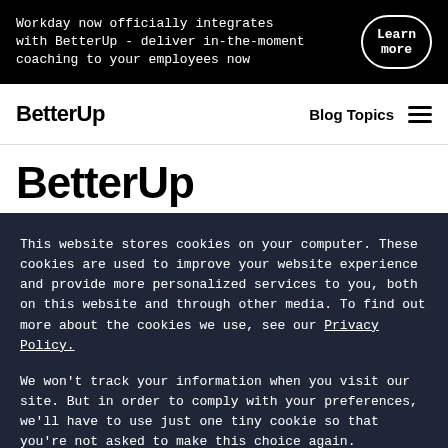Workday now officially integrates with BetterUp - deliver in-the-moment coaching to your employees now
BetterUp
Blog Topics
BetterUp
This website stores cookies on your computer. These cookies are used to improve your website experience and provide more personalized services to you, both on this website and through other media. To find out more about the cookies we use, see our Privacy Policy.
We won't track your information when you visit our site. But in order to comply with your preferences, we'll have to use just one tiny cookie so that you're not asked to make this choice again.